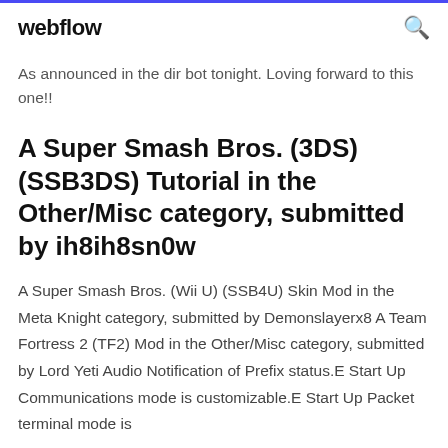webflow
As announced in the dir bot tonight. Loving forward to this one!!
A Super Smash Bros. (3DS) (SSB3DS) Tutorial in the Other/Misc category, submitted by ih8ih8sn0w
A Super Smash Bros. (Wii U) (SSB4U) Skin Mod in the Meta Knight category, submitted by Demonslayerx8 A Team Fortress 2 (TF2) Mod in the Other/Misc category, submitted by Lord Yeti Audio Notification of Prefix status.E Start Up Communications mode is customizable.E Start Up Packet terminal mode is